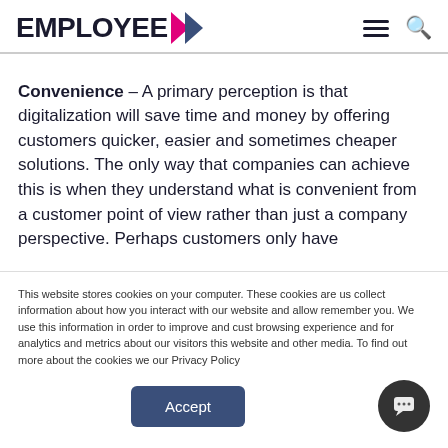EMPLOYEE >
Convenience – A primary perception is that digitalization will save time and money by offering customers quicker, easier and sometimes cheaper solutions. The only way that companies can achieve this is when they understand what is convenient from a customer point of view rather than just a company perspective. Perhaps customers only have
This website stores cookies on your computer. These cookies are us collect information about how you interact with our website and allow remember you. We use this information in order to improve and cust browsing experience and for analytics and metrics about our visitors this website and other media. To find out more about the cookies we our Privacy Policy
Accept